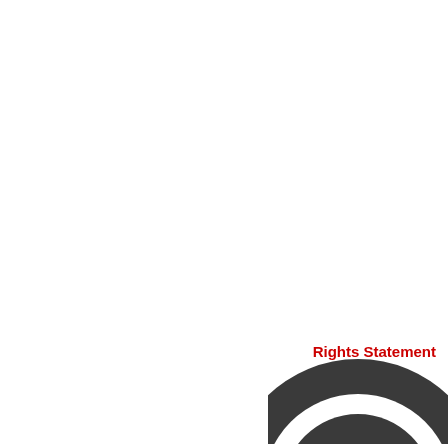Rights Statement
[Figure (logo): Circular logo mark in dark charcoal/black, showing concentric arc shapes forming a symbol, partially visible at bottom-right corner of the page.]